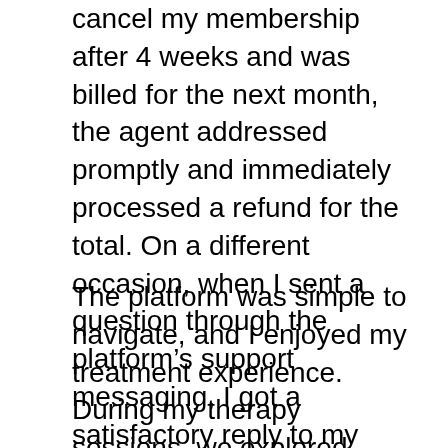cancel my membership after 4 weeks and was billed for the next month, the agent addressed promptly and immediately processed a refund for the total. On a different occasion, when I sent a question through the platform's support messaging, I got a satisfactory reply to my question within a couple of hours.
The platform was simple to navigate, and I enjoyed my treatment experience. During my therapy sessions, we explored cognitive-based treatment tools for being more favorable, communicating more effectively and minimizing anxiety. I didn't utilize messaging, live chat or phone sessions for counseling, but my therapist advised me during each session that those options were